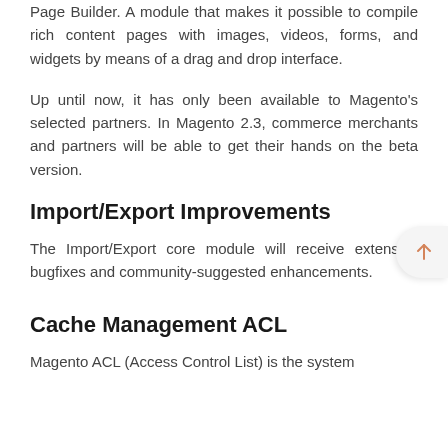Page Builder. A module that makes it possible to compile rich content pages with images, videos, forms, and widgets by means of a drag and drop interface.
Up until now, it has only been available to Magento's selected partners. In Magento 2.3, commerce merchants and partners will be able to get their hands on the beta version.
Import/Export Improvements
The Import/Export core module will receive extensive bugfixes and community-suggested enhancements.
Cache Management ACL
Magento ACL (Access Control List) is the system